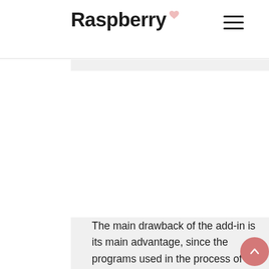Raspberry
[Figure (screenshot): Large white rectangular content panel area on a light grey background, appearing as an advertisement or image placeholder]
The main drawback of the add-in is its main advantage, since the programs used in the process of processing codes draw resources from the OS itself. In this case, various errors may appear, which are not always possible to be corrected safely.